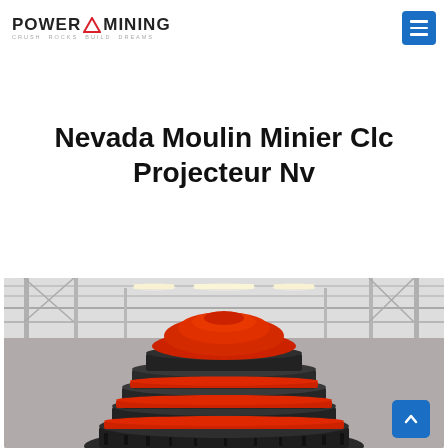POWER MINING - Crush Rocks Build Dreams
Nevada Moulin Minier Clc Projecteur Nv
[Figure (photo): Industrial mining equipment — a large red and black cone crusher head photographed from below inside a factory warehouse with steel frame ceiling structure and lighting.]